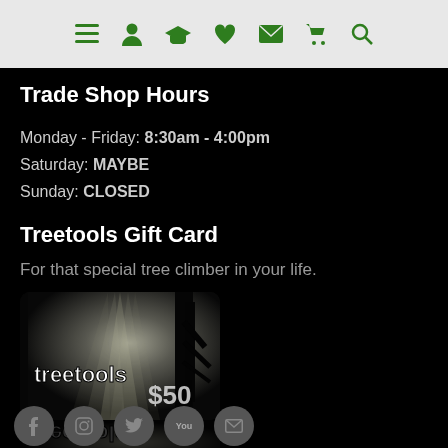Navigation bar with menu, account, graduation cap, heart, mail, cart, search icons
Trade Shop Hours
Monday - Friday: 8:30am - 4:00pm
Saturday: MAYBE
Sunday: CLOSED
Treetools Gift Card
For that special tree climber in your life.
[Figure (photo): Treetools $50 gift card showing a dark forest with light rays, with 'treetools' brand name and '$50' value printed on card. Reflection of card shown below.]
Social media icons: Facebook, Instagram, Twitter, YouTube, Email